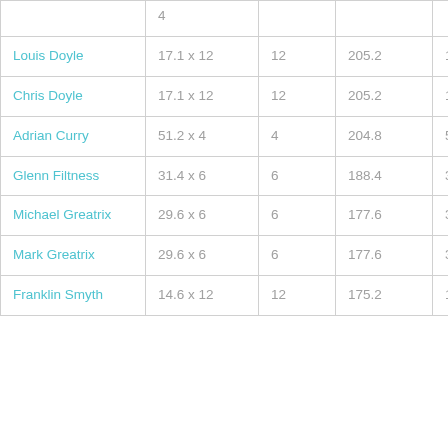|  | 4 |  |  |  |
| Louis Doyle | 17.1 x 12 | 12 | 205.2 | 17 |
| Chris Doyle | 17.1 x 12 | 12 | 205.2 | 17 |
| Adrian Curry | 51.2 x 4 | 4 | 204.8 | 51 |
| Glenn Filtness | 31.4 x 6 | 6 | 188.4 | 31 |
| Michael Greatrix | 29.6 x 6 | 6 | 177.6 | 30 |
| Mark Greatrix | 29.6 x 6 | 6 | 177.6 | 30 |
| Franklin Smyth | 14.6 x 12 | 12 | 175.2 | 15 |